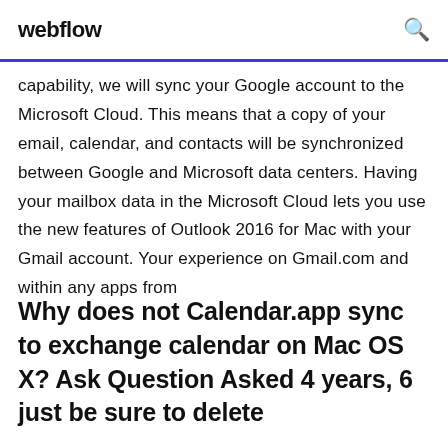webflow
capability, we will sync your Google account to the Microsoft Cloud. This means that a copy of your email, calendar, and contacts will be synchronized between Google and Microsoft data centers. Having your mailbox data in the Microsoft Cloud lets you use the new features of Outlook 2016 for Mac with your Gmail account. Your experience on Gmail.com and within any apps from
Why does not Calendar.app sync to exchange calendar on Mac OS X? Ask Question Asked 4 years, 6 just be sure to delete